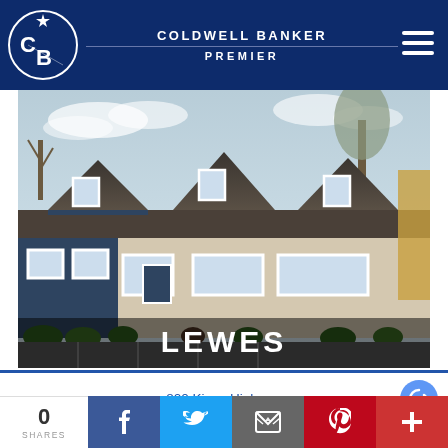COLDWELL BANKER PREMIER
[Figure (photo): Exterior photo of Coldwell Banker Premier Lewes office building — a beige Cape Cod style building with dark blue dormer windows, shrubs along the front, and a parking lot in the foreground. Bare winter trees visible in the background. Text overlay: LEWES]
800 Kings Highway
Lewes,DE 19958
lewes@cbanker.com
0 SHARES | Facebook | Twitter | Email | Pinterest | +